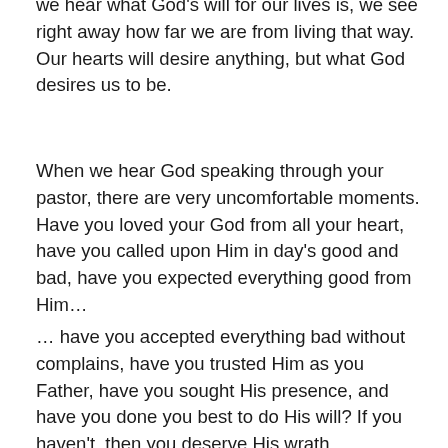we hear what God's will for our lives is, we see right away how far we are from living that way. Our hearts will desire anything, but what God desires us to be.
When we hear God speaking through your pastor, there are very uncomfortable moments. Have you loved your God from all your heart, have you called upon Him in day's good and bad, have you expected everything good from Him…
… have you accepted everything bad without complains, have you trusted Him as you Father, have you sought His presence, and have you done you best to do His will? If you haven't, then you deserve His wrath.
That would be just and fair. This is why we should be terrified in God's presence. And these were only a few question, we could talk about how willing we are to listen